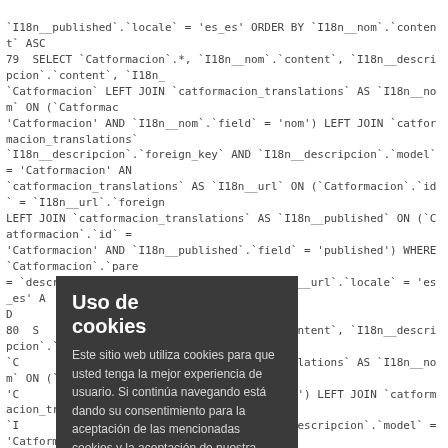`I18n__published`.`locale` = 'es_es' ORDER BY `I18n__nom`.`content` ASC
79 SELECT `Catformacion`.*, `I18n__nom`.`content`, `I18n__descripcion`.`content`, `I18n_
`Catformacion` LEFT JOIN `catformacion_translations` AS `I18n__nom` ON (`Catformac
'Catformacion' AND `I18n__nom`.`field` = 'nom') LEFT JOIN `catformacion_translations`
`I18n__descripcion`.`foreign_key` AND `I18n__descripcion`.`model` = 'Catformacion' AN
`catformacion_translations` AS `I18n__url` ON (`Catformacion`.`id` = `I18n__url`.`foreign
LEFT JOIN `catformacion_translations` AS `I18n__published` ON (`Catformacion`.`id` =
'Catformacion' AND `I18n__published`.`field` = 'published') WHERE `Catformacion`.`pare
= `descripcion`.`locale` = 'es_es' AND `I18n__url`.`locale` = 'es_es' A
D...
[Figure (other): Cookie consent overlay with title 'Uso de cookies' and body text in Spanish about cookie usage policy]
80 S*.*, `I18n__nom`.`content`, `I18n__descripcion`.`content`, `I18n__
`CIN `catformacion_translations` AS `I18n__nom` ON (`Catformac
'C`n__nom`.`field` = 'nom') LEFT JOIN `catformacion_translations`
`Ieign_key` AND `I18n__descripcion`.`model` = 'Catformacion' AN
`dns` AS `I18n__url` ON (`Catformacion`.`id` = `I18n__url`.`foreign
Ln_translations` AS `I18n__published` ON (`Catformacion`.`id` =
'Cn__published`.`field` = 'published') WHERE `Catformacion`.`pare
`Iale` = 'es_es' AND `I18n__url`.`locale` = 'es_es' AND `I18n__pub
81 S`I18n__nom`.`content`, `I18n__url`.`content`, `I18n__published`.
`F`formacion_translations` AS `I18n__nom` ON (`Formacion`.`id` s
`Im') LEFT JOIN `formacion_translations` AS `I18n__url` ON (`Fo
'F`url`.`field` = 'url') LEFT JOIN `formacion_translations` AS `I18n_
`Iel` = 'Formacion' AND `I18n__published`.`field` = 'published') LE
(`__metadescription`.`foreign_key` AND `I18n__metadescription`.
Watformacion_id` = 147 AND `I18n__nom`.`locale` = 'es_es' AND
`I`.`locale` = 'es_es' ORDER BY `Formacion`.`nom` ASC
82 S*.*, `I18n__nom`.`content`, `I18n__descripcion`.`content`, `I18n_
`Catformacion` LEFT JOIN `catformacion_translations` AS `I18n__nom` ON (`Catformac
'Catformacion' AND `I18n__nom`.`field` = 'nom') LEFT JOIN `catformacion_translations`
`I18n__descripcion`.`foreign_key` AND `I18n__descripcion`.`model` = 'Catformacion' AN
`catformacion_translations` AS `I18n__url` ON (`Catformacion`.`id` = `I18n__url`.`foreign
LEFT JOIN `catformacion_translations` AS `I18n__published` ON (`Catformacion`.`id`